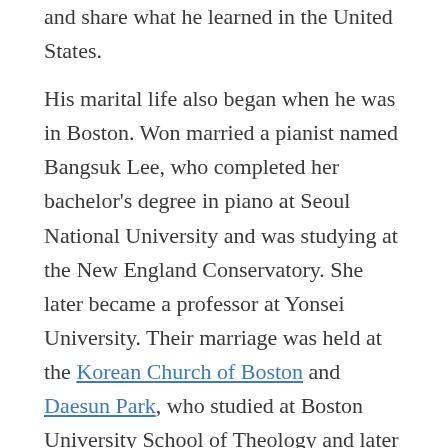and share what he learned in the United States.
His marital life also began when he was in Boston. Won married a pianist named Bangsuk Lee, who completed her bachelor's degree in piano at Seoul National University and was studying at the New England Conservatory. She later became a professor at Yonsei University. Their marriage was held at the Korean Church of Boston and Daesun Park, who studied at Boston University School of Theology and later became the president of Yonsei University, officiated the wedding.[9] Not much about their Christian life was presented in documents but their faith was strong in their hearts as evidenced by their involvement in Christian communities and church activities, including sharing testimonies and giving lectures to young Christians in South Korea.